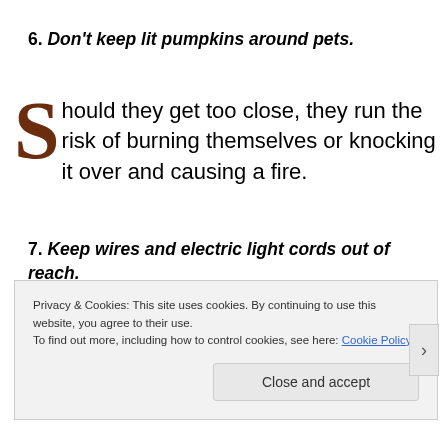6. Don't keep lit pumpkins around pets.
Should they get too close, they run the risk of burning themselves or knocking it over and causing a fire.
7. Keep wires and electric light cords out of reach.
If chewed, your pet could cut himself or herself on
Privacy & Cookies: This site uses cookies. By continuing to use this website, you agree to their use. To find out more, including how to control cookies, see here: Cookie Policy
Close and accept